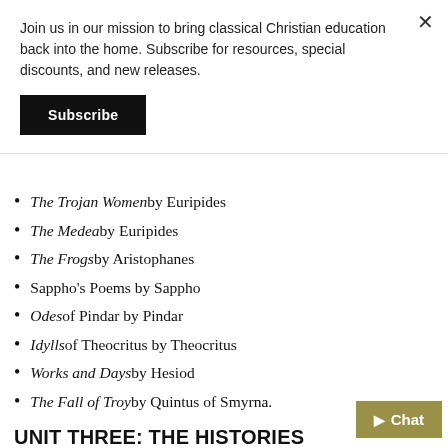Join us in our mission to bring classical Christian education back into the home. Subscribe for resources, special discounts, and new releases.
Subscribe
The Trojan Women by Euripides
The Medea by Euripides
The Frogs by Aristophanes
Sappho's Poems by Sappho
Odes of Pindar by Pindar
Idylls of Theocritus by Theocritus
Works and Days by Hesiod
The Fall of Troy by Quintus of Smyrna.
UNIT THREE: THE HISTORIES
The Histories, by Herodotus